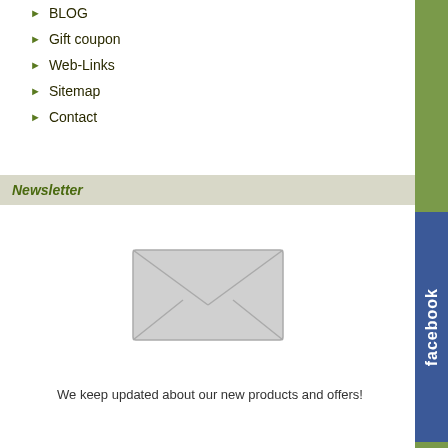▶ BLOG
▶ Gift coupon
▶ Web-Links
▶ Sitemap
▶ Contact
Newsletter
[Figure (illustration): Envelope/mail icon for newsletter subscription]
We keep updated about our new products and offers!
Search Engine
[Figure (logo): PreisRoboter.de logo badge with small icon]
[Figure (screenshot): Search input field with green search button icon]
Shipping | Data
Alle Preise verstehen sich inkl. g Gewicht und eventuell...
| SC Liquid 10ml pineapple - wi
[Figure (other): Facebook social media button (vertical, blue)]
[Figure (other): Twitter social media button (vertical, dark)]
[Figure (other): BLOG vertical side button]
[Figure (other): Newsletter vertical side button]